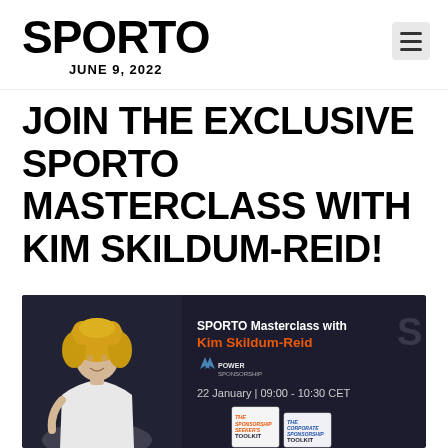SPORTO | JUNE 9, 2022
JOIN THE EXCLUSIVE SPORTO MASTERCLASS WITH KIM SKILDUM-REID!
[Figure (photo): Promotional banner for SPORTO Masterclass with Kim Skildum-Reid. Dark background with a blonde woman in a white shirt on the left, text on the right reading 'SPORTO Masterclass with Kim Skildum-Reid', Power Sponsorship logo, date '22 January | 09:00 - 10:30 CET', and two book covers at the bottom right: 'The Sponsorship Seeker's Toolkit' and 'The Corporate Sponsorship Toolkit'.]